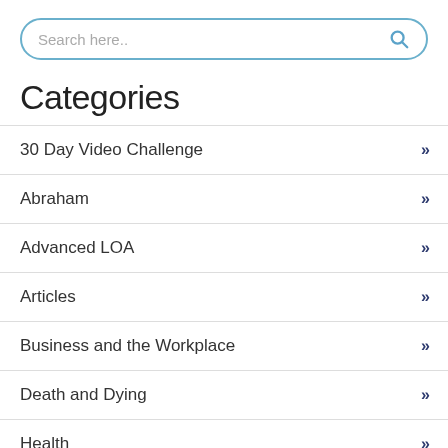Search here..
Categories
30 Day Video Challenge
Abraham
Advanced LOA
Articles
Business and the Workplace
Death and Dying
Health